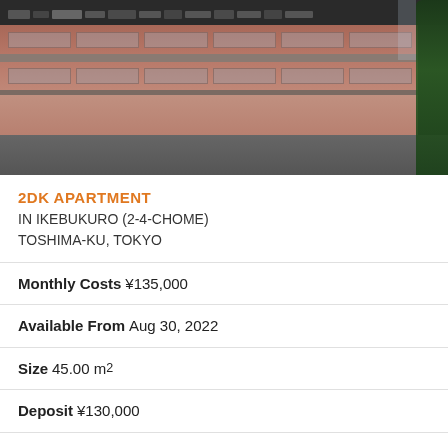[Figure (photo): Exterior photo of a multi-story apartment building with brownish-red facade, balconies/railings along top, and trees visible on the right side.]
2DK APARTMENT
IN IKEBUKURO (2-4-CHOME)
TOSHIMA-KU, TOKYO
Monthly Costs ¥135,000
Available From Aug 30, 2022
Size 45.00 m²
Deposit ¥130,000
Key Money ¥130,000
Floor 2 / 6F